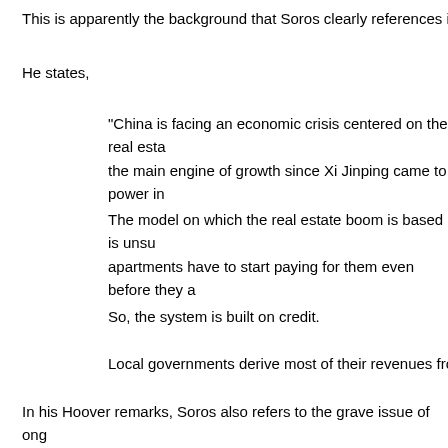This is apparently the background that Soros clearly references in h
He states,
"China is facing an economic crisis centered on the real esta the main engine of growth since Xi Jinping came to power in
The model on which the real estate boom is based is unsu apartments have to start paying for them even before they a
So, the system is built on credit.
Local governments derive most of their revenues from selling
In his Hoover remarks, Soros also refers to the grave issue of ong China which is ending the previous pool of low wage labor that sp past thirty years.
He claims,
"the actual population is about 130 million lower than the offi
This is not widely known, but it will aggravate the real estate shortages, fiscal strain and a slowdown in the economy."
And making Xi's situation more precarious, Soros notes that far fr two years ago by WHO and others of the XI Covid strategy, there i